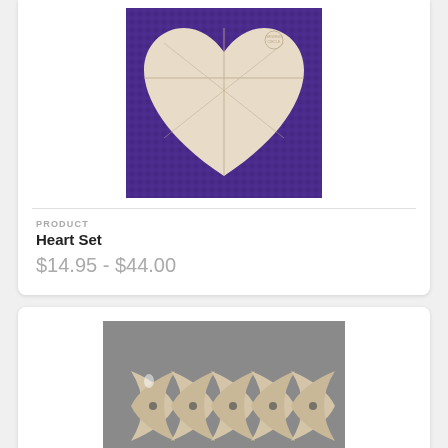[Figure (photo): Heart-shaped quilting template on purple fabric background]
PRODUCT
Heart Set
$14.95 - $44.00
[Figure (photo): Multiple bowtie-shaped quilting templates arranged on gray background]